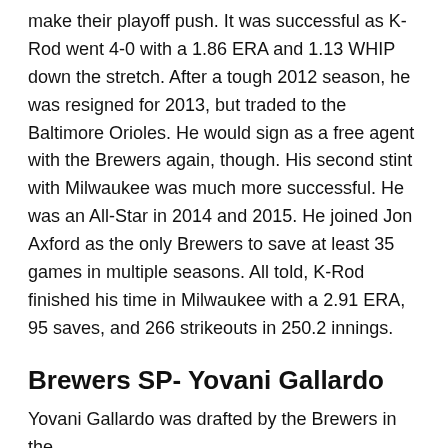make their playoff push. It was successful as K-Rod went 4-0 with a 1.86 ERA and 1.13 WHIP down the stretch. After a tough 2012 season, he was resigned for 2013, but traded to the Baltimore Orioles. He would sign as a free agent with the Brewers again, though. His second stint with Milwaukee was much more successful. He was an All-Star in 2014 and 2015. He joined Jon Axford as the only Brewers to save at least 35 games in multiple seasons. All told, K-Rod finished his time in Milwaukee with a 2.91 ERA, 95 saves, and 266 strikeouts in 250.2 innings.
Brewers SP- Yovani Gallardo
Yovani Gallardo was drafted by the Brewers in the